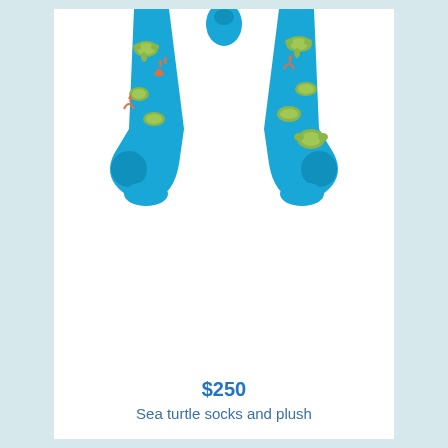[Figure (photo): A pair of turquoise/teal socks with sea turtle and coral patterns displayed spread open at the top, and a realistic sea turtle plush toy shown from above at the bottom.]
$250
Sea turtle socks and plush